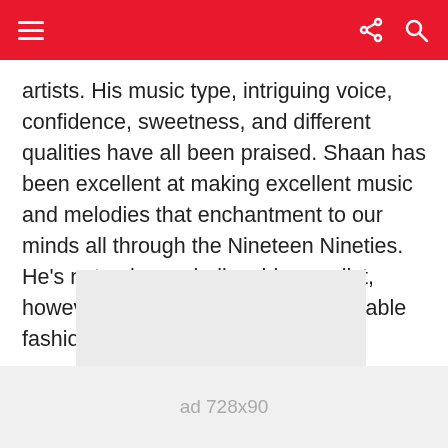navigation bar with hamburger menu, share icon, and search icon
artists. His music type, intriguing voice, confidence, sweetness, and different qualities have all been praised. Shaan has been excellent at making excellent music and melodies that enchantment to our minds all through the Nineteen Nineties. He’s not only a unbelievable vocalist, however he’s additionally a unbelievable fashionista.
[Figure (other): Advertisement placeholder showing 'ad 300x250' in gray box]
[Figure (other): Advertisement placeholder showing 'ad 728x90' in gray bar at bottom]